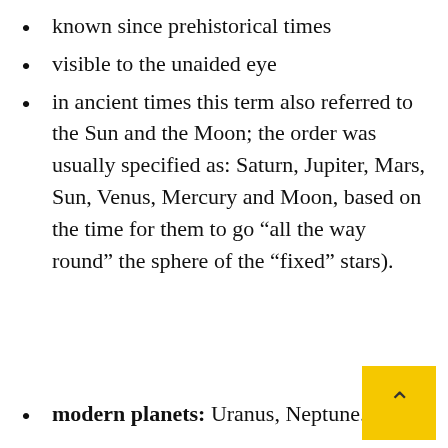known since prehistorical times
visible to the unaided eye
in ancient times this term also referred to the Sun and the Moon; the order was usually specified as: Saturn, Jupiter, Mars, Sun, Venus, Mercury and Moon, based on the time for them to go “all the way round” the sphere of the “fixed” stars).
modern planets: Uranus, Neptune.